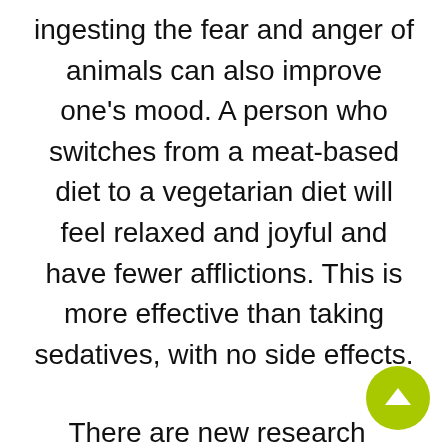ingesting the fear and anger of animals can also improve one's mood. A person who switches from a meat-based diet to a vegetarian diet will feel relaxed and joyful and have fewer afflictions. This is more effective than taking sedatives, with no side effects.
There are new research findings indicating that a vegetarian diet ensures good health and longevity. This research indicates that a vegetarian diet can prevent the 14 major causes of death in the U.S., including heart disease, cancer, chronic obstructive pulmonary disease,